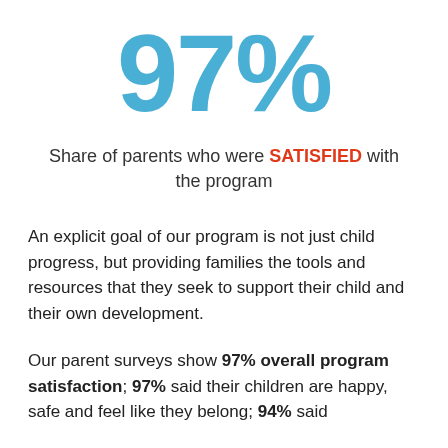97%
Share of parents who were SATISFIED with the program
An explicit goal of our program is not just child progress, but providing families the tools and resources that they seek to support their child and their own development.
Our parent surveys show 97% overall program satisfaction; 97% said their children are happy, safe and feel like they belong; 94% said